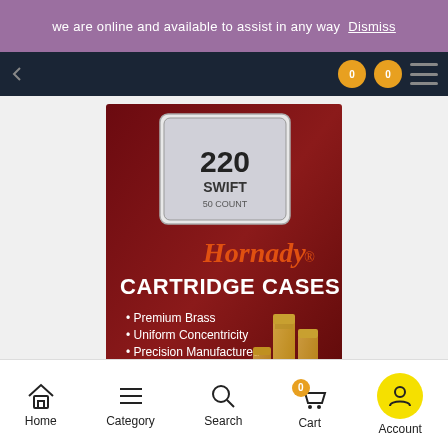we are online and available to assist in any way  Dismiss
[Figure (photo): Hornady Cartridge Cases 220 Swift 50 Count product box — dark red/maroon box with brass cartridge cases shown, text reads: 220 SWIFT 50 COUNT, Hornady, CARTRIDGE CASES, Premium Brass, Uniform Concentricity, Precision Manufactured, Hand Inspected]
Home  Category  Search  Cart 0  Account